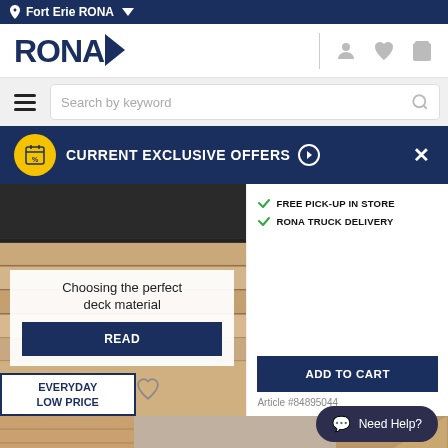Fort Erie RONA
[Figure (logo): RONA logo with navy triangle]
Search by keyword
CURRENT EXCLUSIVE OFFERS
[Figure (screenshot): Deck material product page with left panel showing deck image and overlay card 'Choosing the perfect deck material' with READ button, right panel showing FREE PICK-UP IN STORE, RONA TRUCK DELIVERY, ADD TO CART button, Article #84895044]
FREE PICK-UP IN STORE
RONA TRUCK DELIVERY
Choosing the perfect deck material
READ
ADD TO CART
Article #84895044
EVERYDAY LOW PRICE
Need Help?